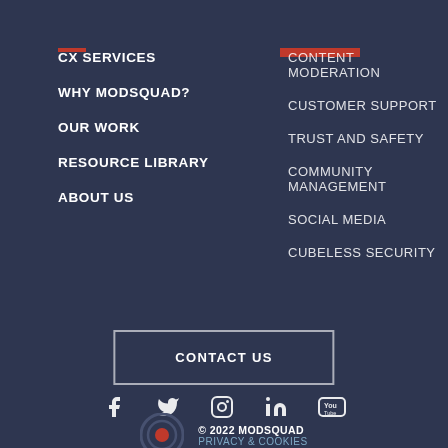CX SERVICES
WHY MODSQUAD?
OUR WORK
RESOURCE LIBRARY
ABOUT US
CONTENT MODERATION
CUSTOMER SUPPORT
TRUST AND SAFETY
COMMUNITY MANAGEMENT
SOCIAL MEDIA
CUBELESS SECURITY
CONTACT US
[Figure (illustration): Social media icons: Facebook, Twitter, Instagram, LinkedIn, YouTube]
[Figure (logo): ModSquad circular logo with red dot in center]
© 2022 MODSQUAD  PRIVACY & COOKIES